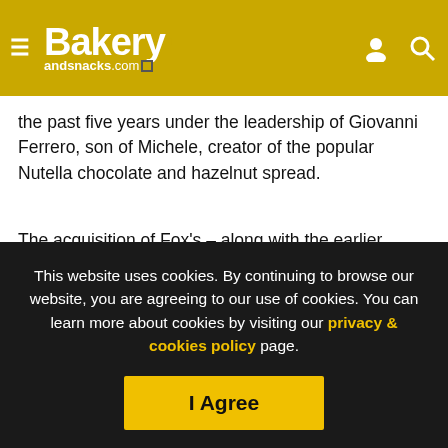Bakery andsnacks.com
the past five years under the leadership of Giovanni Ferrero, son of Michele, creator of the popular Nutella chocolate and hazelnut spread.
The acquisition of Fox's – along with the earlier procurements of Biscuits Delacre and Kelsen Group – places the Italian giant as the second largest chocolate and confectionery business in the global sweet biscuit market.
This website uses cookies. By continuing to browse our website, you are agreeing to our use of cookies. You can learn more about cookies by visiting our privacy & cookies policy page.